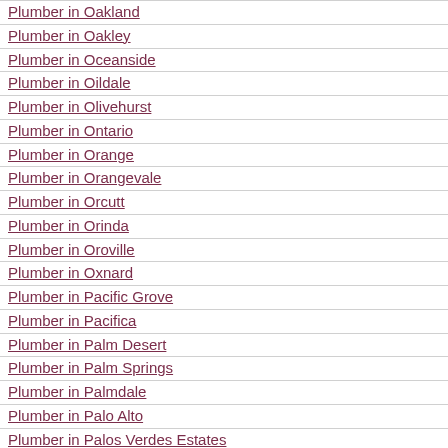Plumber in Oakland
Plumber in Oakley
Plumber in Oceanside
Plumber in Oildale
Plumber in Olivehurst
Plumber in Ontario
Plumber in Orange
Plumber in Orangevale
Plumber in Orcutt
Plumber in Orinda
Plumber in Oroville
Plumber in Oxnard
Plumber in Pacific Grove
Plumber in Pacifica
Plumber in Palm Desert
Plumber in Palm Springs
Plumber in Palmdale
Plumber in Palo Alto
Plumber in Palos Verdes Estates
Plumber in Paradise
Plumber in Paramount
Plumber in Parkway-South Sacramento
Plumber in Parlier
Plumber in Pasadena
Plumber in Paso Robles
Plumber in Patterson
Plumber in Pedley
Plumber in Perris